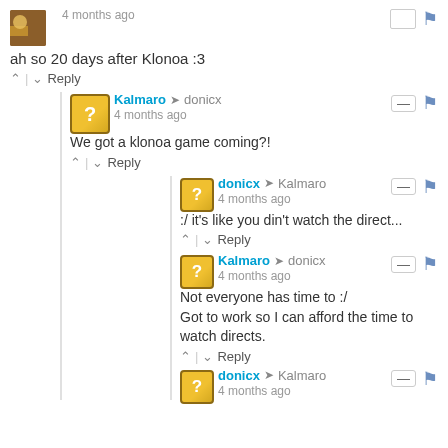4 months ago
ah so 20 days after Klonoa :3
Kalmaro → donicx
4 months ago
We got a klonoa game coming?!
donicx → Kalmaro
4 months ago
:/ it's like you din't watch the direct...
Kalmaro → donicx
4 months ago
Not everyone has time to :/
Got to work so I can afford the time to watch directs.
donicx → Kalmaro
4 months ago